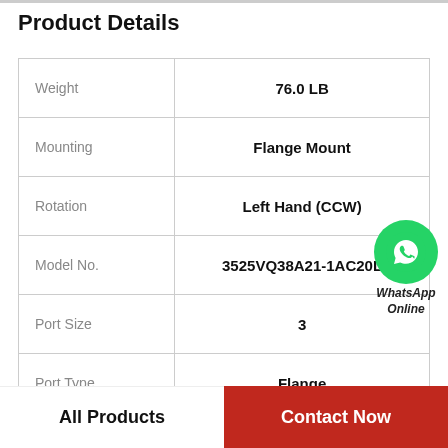Product Details
| Property | Value |
| --- | --- |
| Weight | 76.0 LB |
| Mounting | Flange Mount |
| Rotation | Left Hand (CCW) |
| Model No. | 3525VQ38A21-1AC20L |
| Port Size | 3 |
| Port Type | Flange |
| Shaft Key | 5/16 in |
[Figure (logo): WhatsApp Online overlay with green WhatsApp icon and text 'WhatsApp Online']
All Products
Contact Now